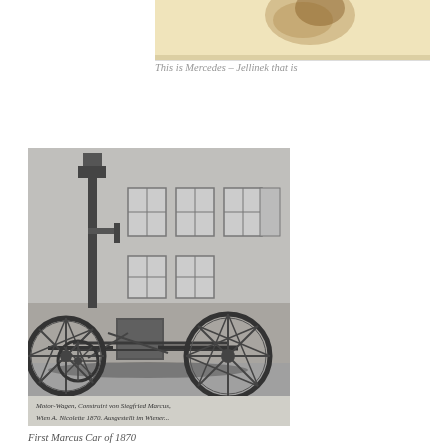[Figure (photo): Top portion of a historical photograph showing a faded/stained image, likely a portrait, with yellowed background and dark stain marks]
This is Mercedes – Jellinek that is
[Figure (photo): Black and white historical photograph of the First Marcus Car of 1870, showing an early motor vehicle resembling a horse carriage frame with large spoked wheels, a vertical engine component, parked in front of a building with windows. Handwritten text at bottom of the photograph.]
First Marcus Car of 1870